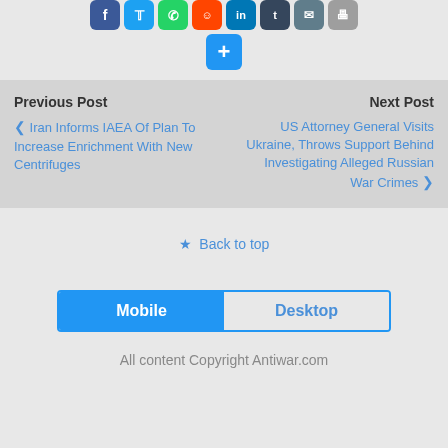[Figure (other): Row of social media share buttons (Facebook, Twitter, WhatsApp, Reddit, LinkedIn, Tumblr, Email, Print) and a blue plus/more button below]
Previous Post
‹ Iran Informs IAEA Of Plan To Increase Enrichment With New Centrifuges
Next Post
US Attorney General Visits Ukraine, Throws Support Behind Investigating Alleged Russian War Crimes ›
⇑ Back to top
Mobile  Desktop
All content Copyright Antiwar.com